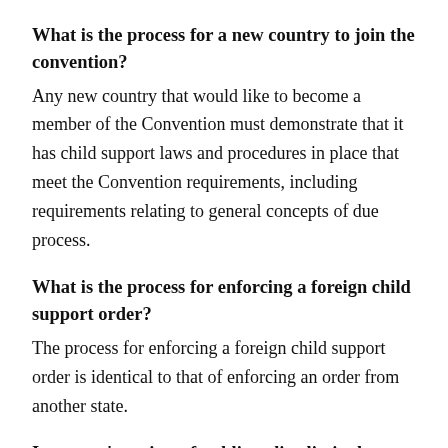What is the process for a new country to join the convention?
Any new country that would like to become a member of the Convention must demonstrate that it has child support laws and procedures in place that meet the Convention requirements, including requirements relating to general concepts of due process.
What is the process for enforcing a foreign child support order?
The process for enforcing a foreign child support order is identical to that of enforcing an order from another state.
Is a court's review of public policy limited to a